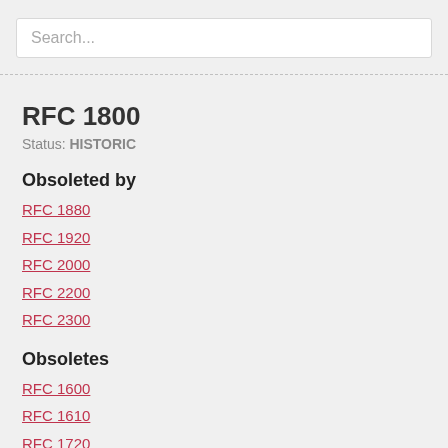Search...
RFC 1800
Status: HISTORIC
Obsoleted by
RFC 1880
RFC 1920
RFC 2000
RFC 2200
RFC 2300
Obsoletes
RFC 1600
RFC 1610
RFC 1720
References
RFC 1
RFC 1119 (STD 12)